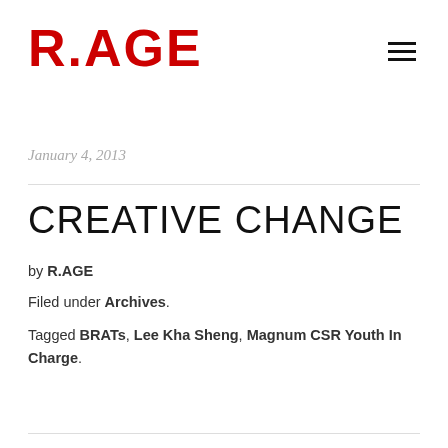R.AGE
January 4, 2013
CREATIVE CHANGE
by R.AGE
Filed under Archives.
Tagged BRATs, Lee Kha Sheng, Magnum CSR Youth In Charge.